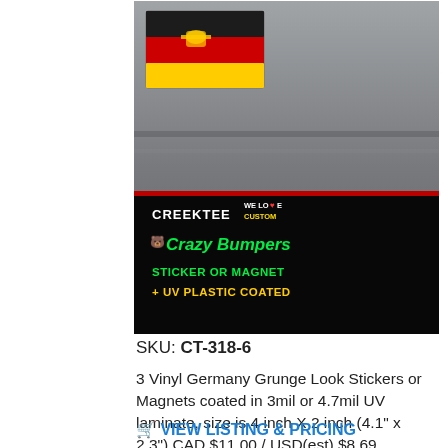[Figure (photo): Product photo showing a car bumper with a Germany grunge-look sticker/magnet in the top-left corner and a Creektee 'Crazy Bumpers' branded banner across the bottom showing 'WE LOVE CUSTOM / STICKER OR MAGNET / + UV PLASTIC COATED']
SKU: CT-318-6
3 Vinyl Germany Grunge Look Stickers or Magnets coated in 3mil or 4.7mil UV laminate, size is 4 inch X 2 inch (4.1" x 2.3") CAD $11.00 / USD(est) $8.69
VIEW LISTING & PRICING
[Figure (photo): Bottom portion of a second product image showing a car bumper with a Norway flag grunge-look sticker/magnet]